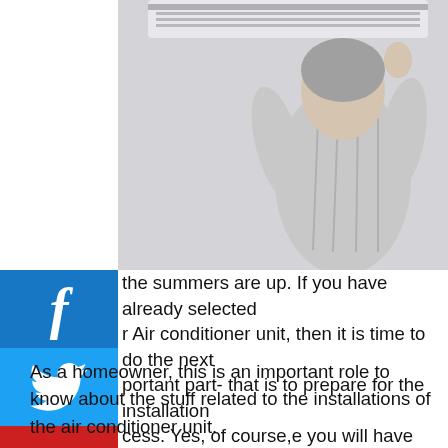[Figure (photo): Person installing or servicing a wall-mounted air conditioning unit, viewed from behind. The AC unit is white and mounted near the ceiling on a light grey wall.]
[Figure (infographic): Social media sidebar with Facebook, Twitter, YouTube, Google+, and Instagram icons/buttons stacked vertically on the left side.]
the summers are up. If you have already selected r Air conditioner unit, then it is time to do the next portant part- that is to prepare for the installation cess. Yes, of course,e you will have the fessionals deal with the installations, but there certain steps for you to take care of beforehand.
As a homeowner, this is an important role to know about the stuff related to the installations of the air conditioner unit.